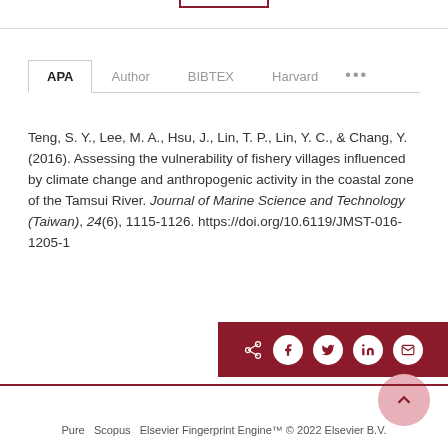APA  Author  BIBTEX  Harvard  ...
Teng, S. Y., Lee, M. A., Hsu, J., Lin, T. P., Lin, Y. C., & Chang, Y. (2016). Assessing the vulnerability of fishery villages influenced by climate change and anthropogenic activity in the coastal zone of the Tamsui River. Journal of Marine Science and Technology (Taiwan), 24(6), 1115-1126. https://doi.org/10.6119/JMST-016-1205-1
Pure  Scopus  Elsevier Fingerprint Engine™ © 2022 Elsevier B.V.